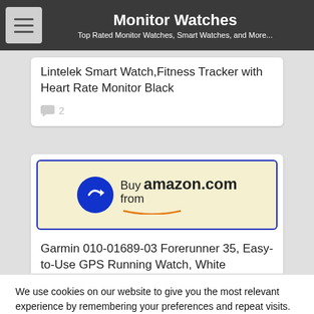Monitor Watches
Top Rated Monitor Watches, Smart Watches, and More...
Lintelek Smart Watch,Fitness Tracker with Heart Rate Monitor Black
2
[Figure (logo): Buy from amazon.com logo with blue arrow and smile]
Garmin 010-01689-03 Forerunner 35, Easy-to-Use GPS Running Watch, White
We use cookies on our website to give you the most relevant experience by remembering your preferences and repeat visits. By clicking “Accept”, you consent to the use of ALL the cookies.
Do not sell my personal information.
Cookie Settings
Accept